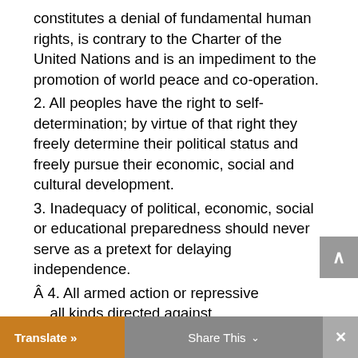constitutes a denial of fundamental human rights, is contrary to the Charter of the United Nations and is an impediment to the promotion of world peace and co-operation.
2. All peoples have the right to self-determination; by virtue of that right they freely determine their political status and freely pursue their economic, social and cultural development.
3. Inadequacy of political, economic, social or educational preparedness should never serve as a pretext for delaying independence.
Â 4. All armed action or repressive … all kinds directed against
Translate »   Share This ∨   ×